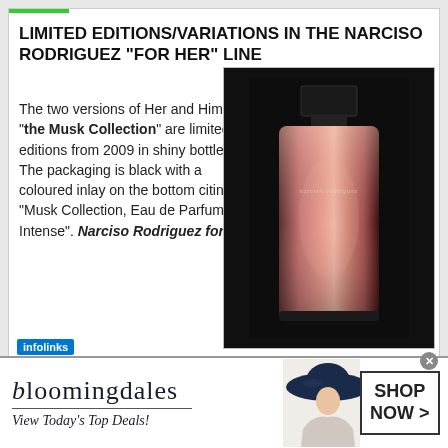LIMITED EDITIONS/VARIATIONS IN THE NARCISO RODRIGUEZ "FOR HER" LINE
The two versions of Her and Him in "the Musk Collection" are limited editions from 2009 in shiny bottles. The packaging is black with a coloured inlay on the bottom citing "Musk Collection, Eau de Parfum Intense". Narciso Rodriguez for
[Figure (photo): A perfume bottle with a rose gold / pink metallic finish against a black background. The bottle is rectangular with rounded edges. The cap is dark/black and rectangular. This is a Narciso Rodriguez fragrance bottle from the Musk Collection.]
[Figure (infographic): Bloomingdales advertisement banner: shows the Bloomingdales logo in serif font, a horizontal divider line, tagline 'View Today's Top Deals!', a model in a wide-brim navy hat, and a 'SHOP NOW >' button.]